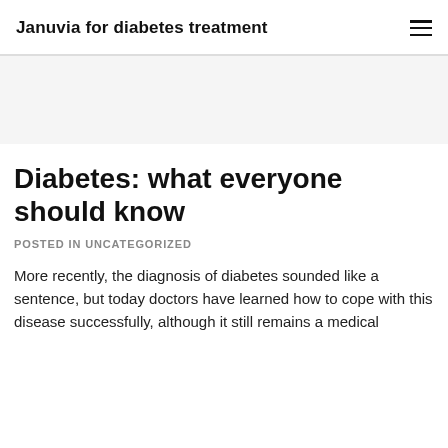Januvia for diabetes treatment
Diabetes: what everyone should know
POSTED IN UNCATEGORIZED
More recently, the diagnosis of diabetes sounded like a sentence, but today doctors have learned how to cope with this disease successfully, although it still remains a medical